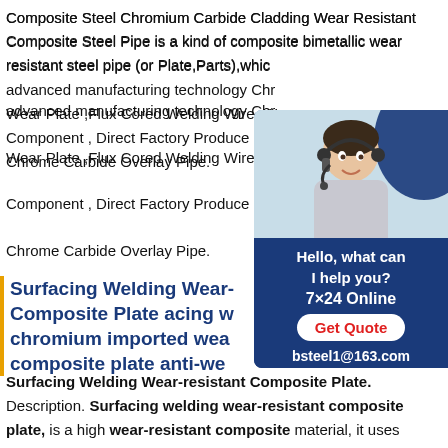Composite Steel Chromium Carbide Cladding Wear Resistant Composite Steel Pipe is a kind of composite bimetallic wear resistant steel pipe (or Plate,Parts),which advanced manufacturing technology Chr Wear Plate ,Flux Cored Welding Wire ,W Component , Direct Factory Produce Bi-M Chrome Carbide Overlay Pipe.
[Figure (photo): Chat widget with a woman wearing a headset, dark blue background, text: Hello what can I help you? 7x24 Online, Get Quote button, bsteel1@163.com]
Surfacing Welding Wear-Composite Plate acing w chromium imported wear composite plate anti-we
Surfacing Welding Wear-resistant Composite Plate. Description. Surfacing welding wear-resistant composite plate, is a high wear-resistant composite material, it uses automatic flat welding equipment, surfacing on steel plate to form a eutectic high chromium alloy wear layer, become a heap